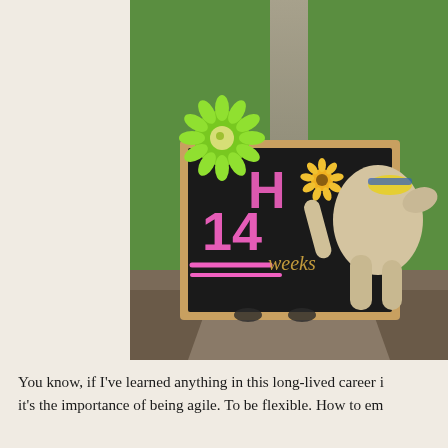[Figure (photo): A dog leaning against a chalkboard sign that reads '14 weeks' with pink chalk, decorated with a green daisy flower. The chalkboard has a wooden frame and sits on a garden path surrounded by green grass. The dog appears to be a light-colored breed wearing a yellow collar and is partially obscuring text on the board.]
You know, if I've learned anything in this long-lived career i it's the importance of being agile. To be flexible. How to em